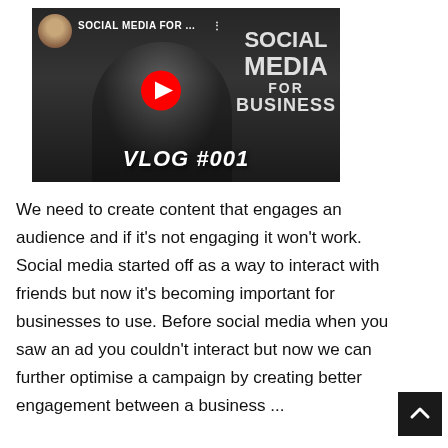[Figure (screenshot): YouTube video thumbnail for 'Social Media For Business Vlog #001' with a YouTube play button, channel avatar, and text overlay reading 'SOCIAL MEDIA FOR...' and 'VLOG #001']
We need to create content that engages an audience and if it's not engaging it won't work. Social media started off as a way to interact with friends but now it's becoming important for businesses to use. Before social media when you saw an ad you couldn't interact but now we can further optimise a campaign by creating better engagement between a business ...